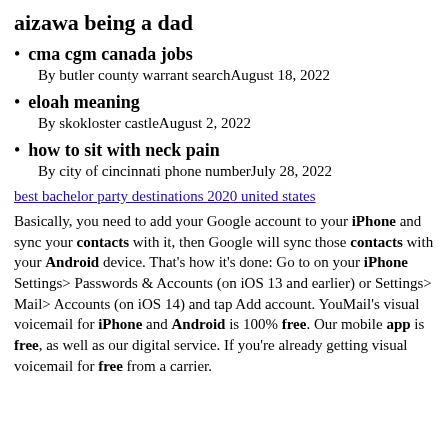aizawa being a dad
cma cgm canada jobs
By butler county warrant searchAugust 18, 2022
eloah meaning
By skokloster castleAugust 2, 2022
how to sit with neck pain
By city of cincinnati phone numberJuly 28, 2022
best bachelor party destinations 2020 united states
Basically, you need to add your Google account to your iPhone and sync your contacts with it, then Google will sync those contacts with your Android device. That's how it's done: Go to on your iPhone Settings> Passwords & Accounts (on iOS 13 and earlier) or Settings> Mail> Accounts (on iOS 14) and tap Add account. YouMail's visual voicemail for iPhone and Android is 100% free. Our mobile app is free, as well as our digital service. If you're already getting visual voicemail for free from a carrier.